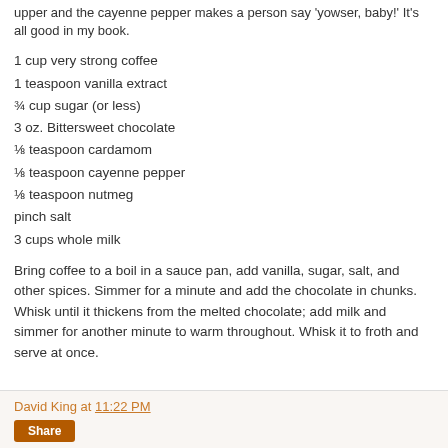upper and the cayenne pepper makes a person say 'yowser, baby!' It's all good in my book.
1 cup very strong coffee
1 teaspoon vanilla extract
¾ cup sugar (or less)
3 oz. Bittersweet chocolate
⅛ teaspoon cardamom
⅛ teaspoon cayenne pepper
⅛ teaspoon nutmeg
pinch salt
3 cups whole milk
Bring coffee to a boil in a sauce pan, add vanilla, sugar, salt, and other spices. Simmer for a minute and add the chocolate in chunks. Whisk until it thickens from the melted chocolate; add milk and simmer for another minute to warm throughout. Whisk it to froth and serve at once.
David King at 11:22 PM
Share